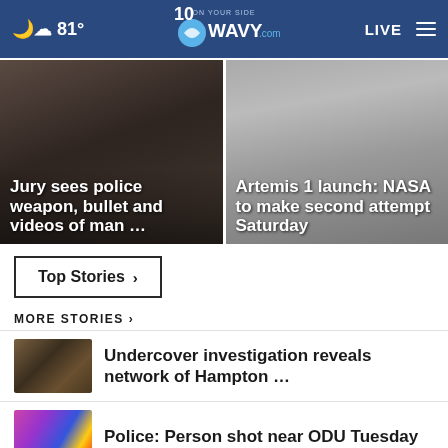81° WAVY.com ON YOUR SIDE 10 LIVE
[Figure (photo): Close-up of bearded man's face, dark toned photo]
Jury sees police weapon, bullet and videos of man …
[Figure (photo): Artemis 1 rocket launch tower structure]
Artemis 1 launch: NASA to make second attempt Saturday
Top Stories ›
MORE STORIES ›
[Figure (photo): Close-up of gun/weapon on dark background]
Undercover investigation reveals network of Hampton …
[Figure (photo): Police lights with colorful background]
Police: Person shot near ODU Tuesday